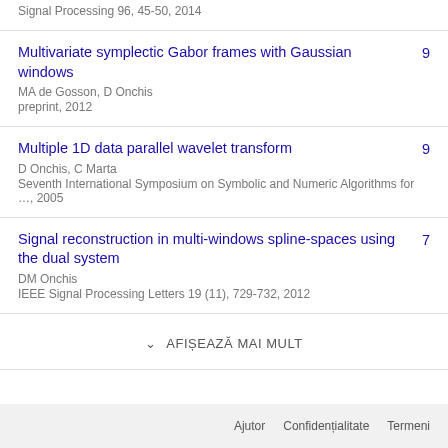Signal Processing 96, 45-50, 2014
Multivariate symplectic Gabor frames with Gaussian windows
MA de Gosson, D Onchis
preprint, 2012
9
Multiple 1D data parallel wavelet transform
D Onchis, C Marta
Seventh International Symposium on Symbolic and Numeric Algorithms for …, 2005
9
Signal reconstruction in multi-windows spline-spaces using the dual system
DM Onchis
IEEE Signal Processing Letters 19 (11), 729-732, 2012
7
AFIȘEAZĂ MAI MULT
Ajutor  Confidențialitate  Termeni